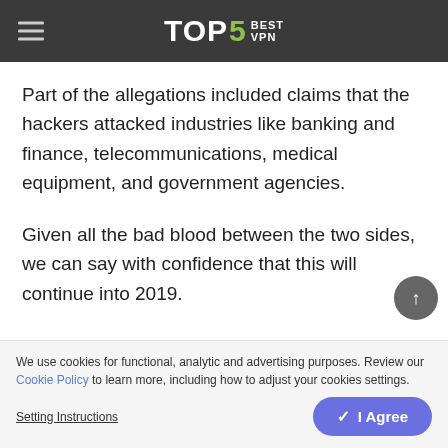TOP5 BEST VPN
Part of the allegations included claims that the hackers attacked industries like banking and finance, telecommunications, medical equipment, and government agencies.
Given all the bad blood between the two sides, we can say with confidence that this will continue into 2019.
We use cookies for functional, analytic and advertising purposes. Review our Cookie Policy to learn more, including how to adjust your cookies settings. Setting Instructions | I Agree